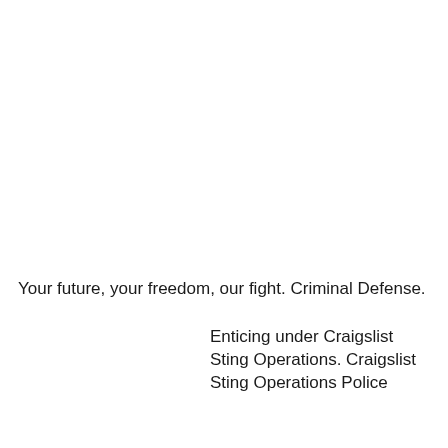Your future, your freedom, our fight. Criminal Defense.
Enticing under Craigslist Sting Operations. Craigslist Sting Operations Police